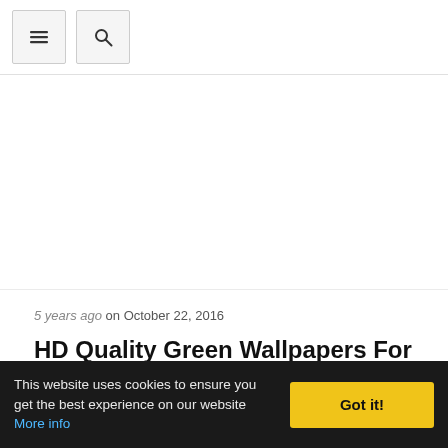[Navigation bar with menu and search buttons]
[Figure (other): White advertisement/content area placeholder]
5 years ago on October 22, 2016
HD Quality Green Wallpapers For Desktop Theme 1 SiWallpapers 12642
This website uses cookies to ensure you get the best experience on our website More info Got it!